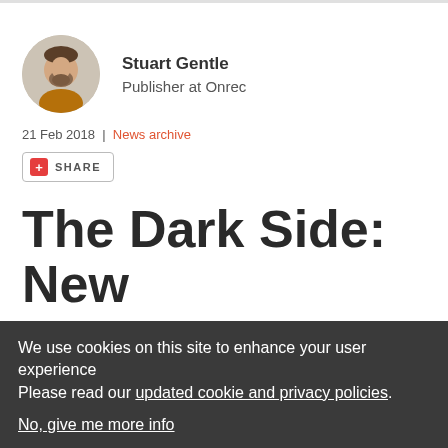[Figure (photo): Circular avatar photo of Stuart Gentle, a man with a beard wearing an orange/mustard shirt]
Stuart Gentle
Publisher at Onrec
21 Feb 2018 | News archive
[Figure (other): Share button with red plus icon and SHARE text]
The Dark Side: New Focus on
We use cookies on this site to enhance your user experience
Please read our updated cookie and privacy policies.
No, give me more info